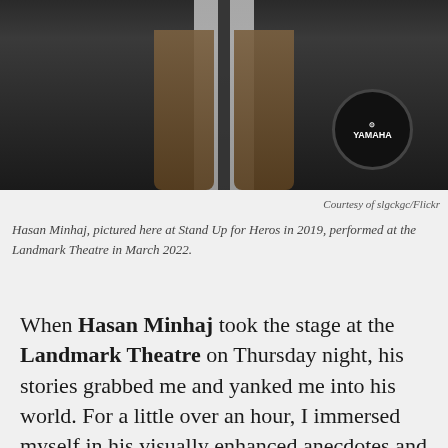[Figure (photo): Photo of Hasan Minhaj on stage with a dark background. A Yamaha drum kit is visible in the background on the right side.]
Courtesy of slgckgc/Flickr
Hasan Minhaj, pictured here at Stand Up for Heros in 2019, performed at the Landmark Theatre in March 2022.
When Hasan Minhaj took the stage at the Landmark Theatre on Thursday night, his stories grabbed me and yanked me into his world. For a little over an hour, I immersed myself in his visually enhanced anecdotes and